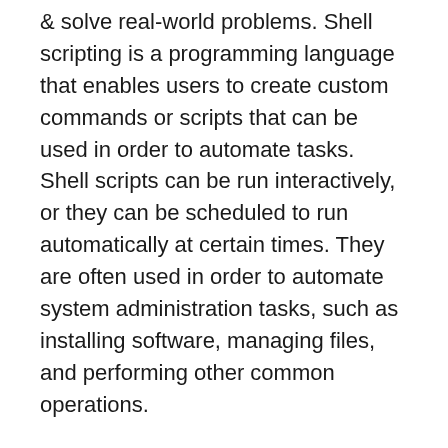& solve real-world problems. Shell scripting is a programming language that enables users to create custom commands or scripts that can be used in order to automate tasks. Shell scripts can be run interactively, or they can be scheduled to run automatically at certain times. They are often used in order to automate system administration tasks, such as installing software, managing files, and performing other common operations.
Command line tasks are a common way to automate work on your computer. This complete course will teach you how to automate these tasks using the command line. You will learn how to use commands shortcuts and tips for working.